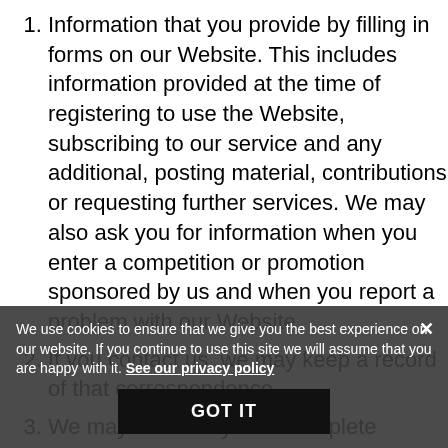Information that you provide by filling in forms on our Website. This includes information provided at the time of registering to use the Website, subscribing to our service and any additional, posting material, contributions or requesting further services. We may also ask you for information when you enter a competition or promotion sponsored by us and when you report a problem with our Website.
If you contact us, we may keep a record of that correspondence.
We may also ask you to complete surveys that we use for research purposes, although you do not have to respond to them.
Details of transactions you carry out through our Website.
Details of your visits to our Website including, but not limited to, traffic data, location data
We use cookies to ensure that we give you the best experience on our website. If you continue to use this site we will assume that you are happy with it. See our privacy policy